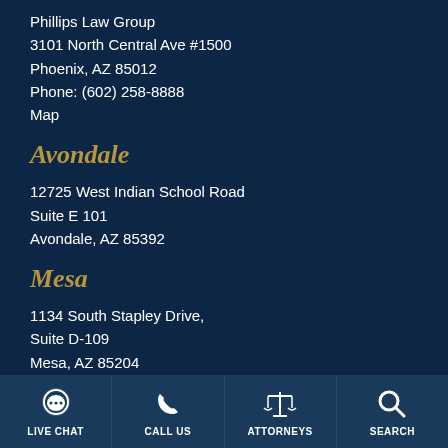Phillips Law Group
3101 North Central Ave #1500
Phoenix, AZ 85012
Phone: (602) 258-8888
Map
Avondale
12725 West Indian School Road
Suite E 101
Avondale, AZ 85392
Mesa
1134 South Stapley Drive,
Suite D-109
Mesa, AZ 85204
Tucson
2 East Congress Street Suite 900
LIVE CHAT | CALL US | ATTORNEYS | SEARCH